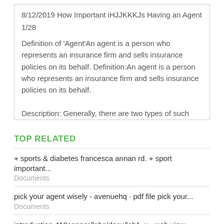8/12/2019 How Important iHJJKKKJs Having an Agent
1/28
Definition of 'Agent'An agent is a person who represents an insurance firm and sells insurance policies on its behalf. Definition:An agent is a person who represents an insurance firm and sells insurance policies on its behalf.
Description: Generally, there are two types of such agents who reach the prospective parties that may be
TOP RELATED
+ sports & diabetes francesca annan rd. + sport important...
Documents
pick your agent wisely - avenuehq · pdf file pick your...
Documents
introduction 410copper/labs/docx/lab1_v · web view...
Documents